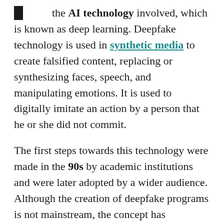the AI technology involved, which is known as deep learning. Deepfake technology is used in synthetic media to create falsified content, replacing or synthesizing faces, speech, and manipulating emotions. It is used to digitally imitate an action by a person that he or she did not commit.
The first steps towards this technology were made in the 90s by academic institutions and were later adopted by a wider audience. Although the creation of deepfake programs is not mainstream, the concept has nonetheless managed to make a lot of noise in the media space.
A deepfake tool letting users animate old photos